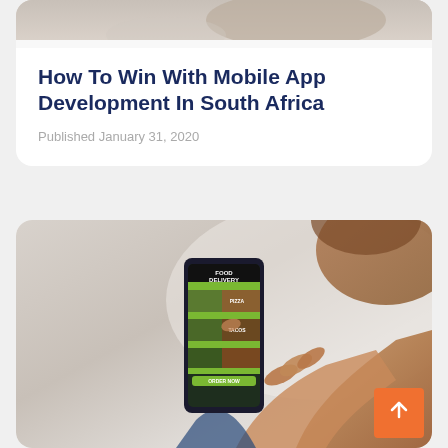[Figure (photo): Partial photo of hands at top of card, cropped]
How To Win With Mobile App Development In South Africa
Published January 31, 2020
[Figure (photo): Person holding a smartphone showing a Food Delivery app interface with green menu items and food photos]